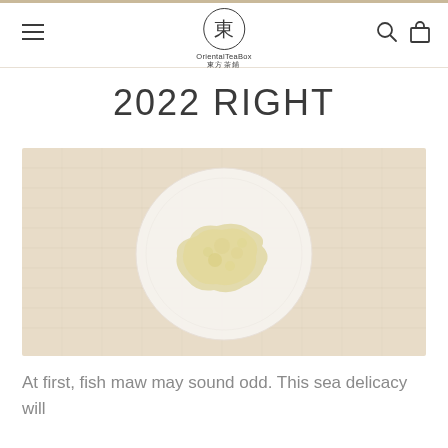OrientalTeaBox 東方茶鋪
2022 RIGHT
[Figure (photo): A white ceramic plate with yellowish fish maw on a beige woven textile background, photographed from above.]
At first, fish maw may sound odd. This sea delicacy will